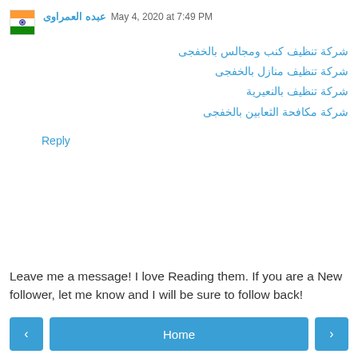عبده العمراوى May 4, 2020 at 7:49 PM
شركة تنظيف كنب ومجالس بالخفجى
شركة تنظيف منازل بالخفجى
شركة تنظيف بالنعيرية
شركة مكافحة الثعابين بالخفجى
Reply
Leave me a message! I love Reading them. If you are a New follower, let me know and I will be sure to follow back!
< Home >